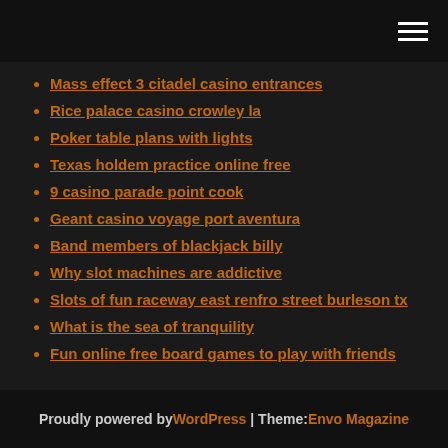Mass effect 3 citadel casino entrances
Rice palace casino crowley la
Poker table plans with lights
Texas holdem practice online free
9 casino parade point cook
Geant casino voyage port aventura
Band members of blackjack billy
Why slot machines are addictive
Slots of fun raceway east renfro street burleson tx
What is the sea of tranquility
Fun online free board games to play with friends
Proudly powered by WordPress | Theme: Envo Magazine